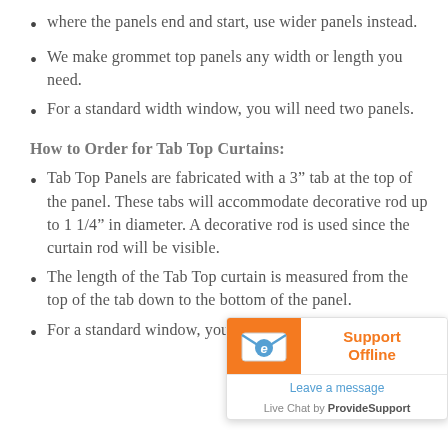where the panels end and start, use wider panels instead.
We make grommet top panels any width or length you need.
For a standard width window, you will need two panels.
How to Order for Tab Top Curtains:
Tab Top Panels are fabricated with a 3" tab at the top of the panel. These tabs will accommodate decorative rod up to 1 1/4" in diameter. A decorative rod is used since the curtain rod will be visible.
The length of the Tab Top curtain is measured from the top of the tab down to the bottom of the panel.
For a standard window, you will need two panels.
[Figure (screenshot): Live chat support widget showing 'Support Offline' and 'Leave a message' from ProvideSupport, with an envelope icon on orange background.]